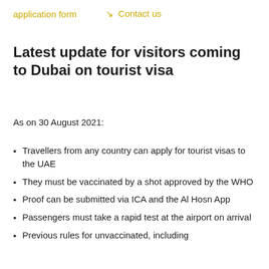application form   ↘ Contact us
Latest update for visitors coming to Dubai on tourist visa
As on 30 August 2021:
Travellers from any country can apply for tourist visas to the UAE
They must be vaccinated by a shot approved by the WHO
Proof can be submitted via ICA and the Al Hosn App
Passengers must take a rapid test at the airport on arrival
Previous rules for unvaccinated, including